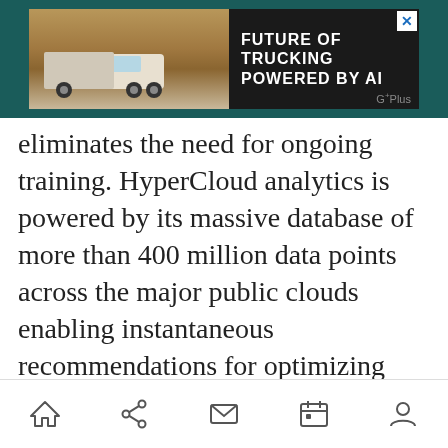[Figure (screenshot): Advertisement banner for 'Future of Trucking Powered by AI' showing a truck in a desert landscape with dark background and G+Plus branding]
eliminates the need for ongoing training. HyperCloud analytics is powered by its massive database of more than 400 million data points across the major public clouds enabling instantaneous recommendations for optimizing new and existing applications using multi-dimensional analysis of factors such as cost, performance and compliance. HyperCloud also analyzes past cloud usage to understand customer needs and speed service delivery by eliminating manual processes. As a result, enterprise IT and MSPs can deliver customized services across any private or public cloud, improving business
[Figure (other): Mobile browser bottom navigation bar with home, share, mail, calendar, and profile icons]